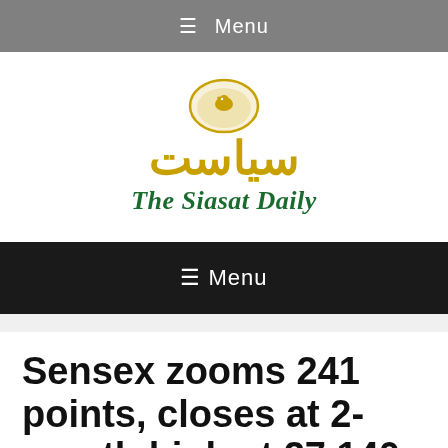≡ Menu
[Figure (logo): The Siasat Daily logo: gold circular emblem with bird, Arabic/Urdu text سیاست in gold, and 'The Siasat Daily' in dark green blackletter font]
≡ Menu
Sensex zooms 241 points, closes at 2-month high at 27,140 ahead of corporate earning